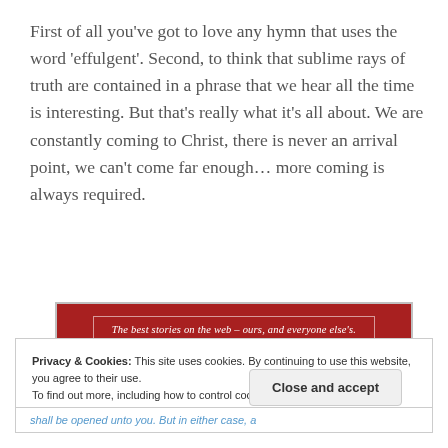First of all you've got to love any hymn that uses the word ‘effulgent’. Second, to think that sublime rays of truth are contained in a phrase that we hear all the time is interesting. But that’s really what it’s all about. We are constantly coming to Christ, there is never an arrival point, we can’t come far enough… more coming is always required.
[Figure (other): Red advertisement banner with white italic text: 'The best stories on the web – ours, and everyone else’s.' with a thin white inner border. Below right: 'REPORT THIS AD' in small grey caps.]
Privacy & Cookies: This site uses cookies. By continuing to use this website, you agree to their use.
To find out more, including how to control cookies, see here: Cookie Policy
Close and accept
shall be opened unto you. But in either case, a